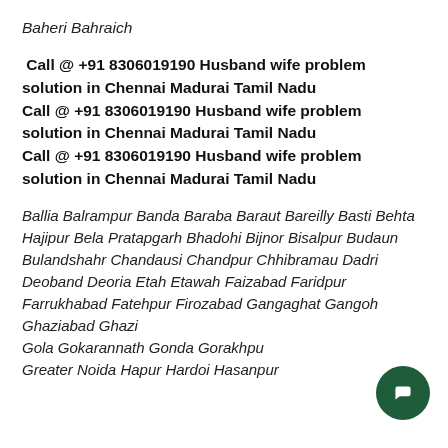Baheri Bahraich
Call @ +91 8306019190 Husband wife problem solution in Chennai Madurai Tamil Nadu
Call @ +91 8306019190 Husband wife problem solution in Chennai Madurai Tamil Nadu
Call @ +91 8306019190 Husband wife problem solution in Chennai Madurai Tamil Nadu
Ballia Balrampur Banda Baraba Baraut Bareilly Basti Behta Hajipur Bela Pratapgarh Bhadohi Bijnor Bisalpur Budaun Bulandshahr Chandausi Chandpur Chhibramau Dadri Deoband Deoria Etah Etawah Faizabad Faridpur Farrukhabad Fatehpur Firozabad Gangaghat Gangoh Ghaziabad Ghazi... Gola Gokarannath Gonda Gorakhpur... Greater Noida Hapur Hardoi Hasanpur...